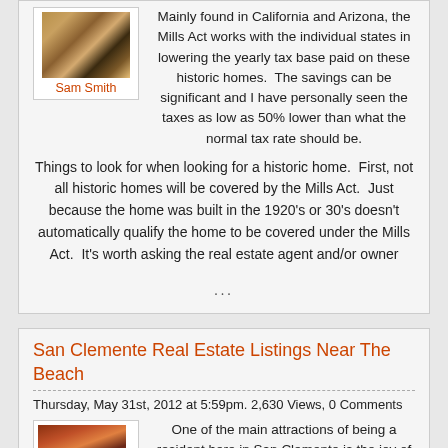[Figure (photo): Small thumbnail photo of a building/street scene with warm tones]
Sam Smith
Mainly found in California and Arizona, the Mills Act works with the individual states in lowering the yearly tax base paid on these historic homes.  The savings can be significant and I have personally seen the taxes as low as 50% lower than what the normal tax rate should be.
Things to look for when looking for a historic home.  First, not all historic homes will be covered by the Mills Act.  Just because the home was built in the 1920's or 30's doesn't automatically qualify the home to be covered under the Mills Act.  It's worth asking the real estate agent and/or owner
...
San Clemente Real Estate Listings Near The Beach
Thursday, May 31st, 2012 at 5:59pm. 2,630 Views, 0 Comments
[Figure (photo): Small thumbnail photo of a red-roofed building]
One of the main attractions of being a resident here in San Clemente is the joy of living by the beach.  Many love the carefree